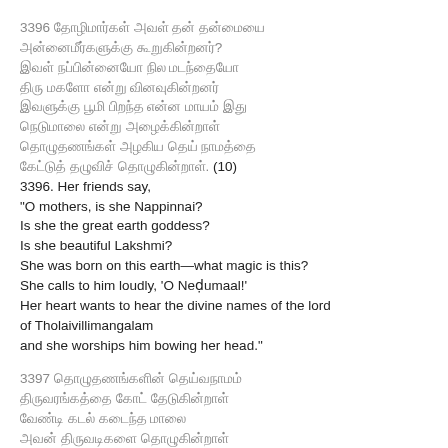3396 [Tamil verse lines 1-8] (10)
3396. Her friends say,
"O mothers, is she Nappinnai?
Is she the great earth goddess?
Is she beautiful Lakshmi?
She was born on this earth—what magic is this?
She calls to him loudly, 'O Neḍumaal!'
Her heart wants to hear the divine names of the lord of Tholaivillimangalam
and she worships him bowing her head."
3397 [Tamil verse lines] (continuing)